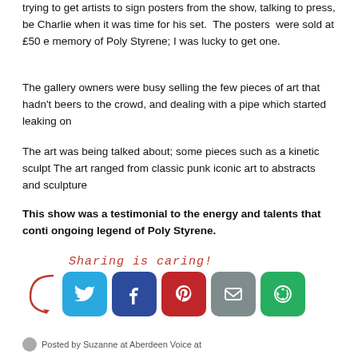trying to get artists to sign posters from the show, talking to press, be Charlie when it was time for his set. The posters were sold at £50 e memory of Poly Styrene; I was lucky to get one.
The gallery owners were busy selling the few pieces of art that hadn't beers to the crowd, and dealing with a pipe which started leaking on
The art was being talked about; some pieces such as a kinetic sculpt The art ranged from classic punk iconic art to abstracts and sculpture
This show was a testimonial to the energy and talents that conti ongoing legend of Poly Styrene.
[Figure (infographic): Sharing is caring! social sharing buttons for Twitter, Facebook, Pinterest, Email, and More Options]
Posted by Suzanne at Aberdeen Voice at